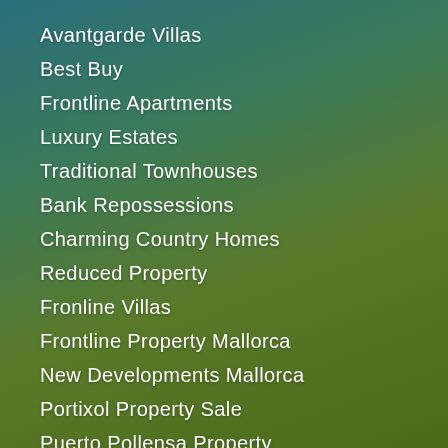Avantgarde Villas
Best Buy
Frontline Apartments
Luxury Estates
Traditional Townhouses
Bank Repossessions
Charming Country Homes
Reduced Property
Fronline Villas
Frontline Property Mallorca
New Developments Mallorca
Portixol Property Sale
Puerto Pollensa Property
Mallorca Property Market
Modern Villas
Property Bargains Mallorca
Luxury Villas Mallorca